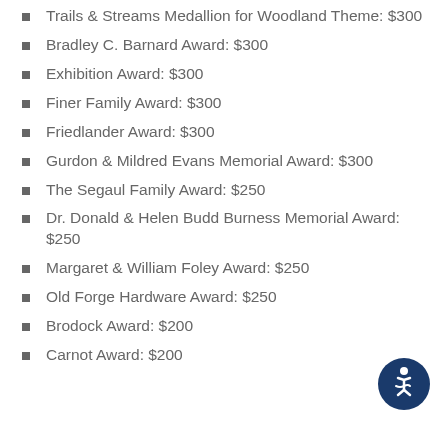Trails & Streams Medallion for Woodland Theme: $300
Bradley C. Barnard Award: $300
Exhibition Award: $300
Finer Family Award: $300
Friedlander Award: $300
Gurdon & Mildred Evans Memorial Award: $300
The Segaul Family Award: $250
Dr. Donald & Helen Budd Burness Memorial Award: $250
Margaret & William Foley Award: $250
Old Forge Hardware Award: $250
Brodock Award: $200
Carnot Award: $200